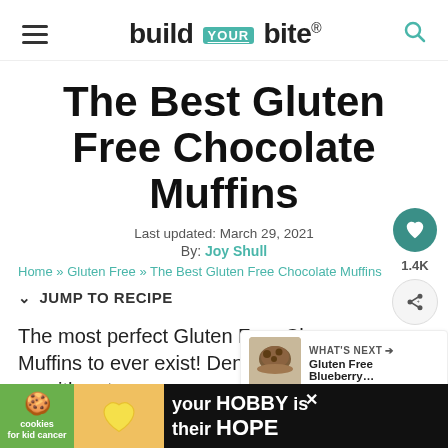build YOUR bite®
The Best Gluten Free Chocolate Muffins
Last updated: March 29, 2021
By: Joy Shull
Home » Gluten Free » The Best Gluten Free Chocolate Muffins
JUMP TO RECIPE
The most perfect Gluten Free Chocolate Muffins to ever exist! Dense, rich, chocolate ... with oat
[Figure (screenshot): What's Next panel showing Gluten Free Blueberry... with a muffin thumbnail image]
[Figure (screenshot): Advertisement banner: cookies for kid cancer - your HOBBY is their HOPE]